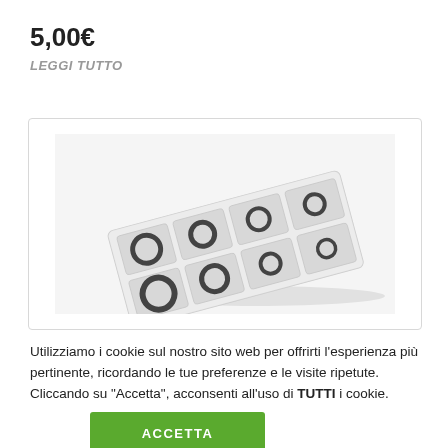5,00€
LEGGI TUTTO
[Figure (photo): A plastic organizer tray with multiple compartments containing small black rubber O-rings or seals of various sizes, arranged in a grid pattern.]
Utilizziamo i cookie sul nostro sito web per offrirti l'esperienza più pertinente, ricordando le tue preferenze e le visite ripetute. Cliccando su "Accetta", acconsenti all'uso di TUTTI i cookie.
ACCETTA